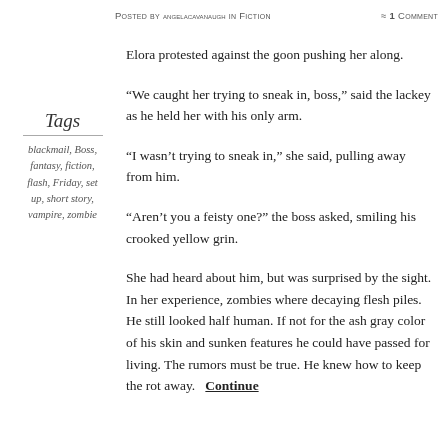Posted by angelacavanaugh in Fiction   ≈ 1 Comment
Tags
blackmail, Boss, fantasy, fiction, flash, Friday, set up, short story, vampire, zombie
Elora protested against the goon pushing her along.
“We caught her trying to sneak in, boss,” said the lackey as he held her with his only arm.
“I wasn’t trying to sneak in,” she said, pulling away from him.
“Aren’t you a feisty one?” the boss asked, smiling his crooked yellow grin.
She had heard about him, but was surprised by the sight. In her experience, zombies where decaying flesh piles. He still looked half human. If not for the ash gray color of his skin and sunken features he could have passed for living. The rumors must be true. He knew how to keep the rot away.   Continue